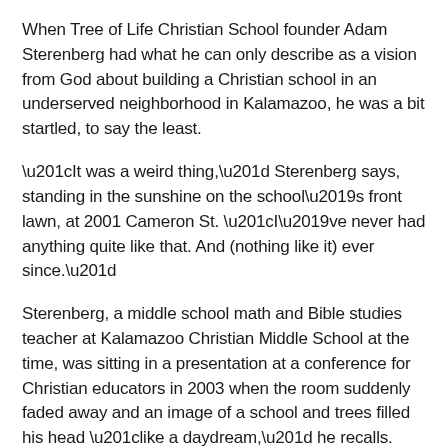When Tree of Life Christian School founder Adam Sterenberg had what he can only describe as a vision from God about building a Christian school in an underserved neighborhood in Kalamazoo, he was a bit startled, to say the least.
“It was a weird thing,” Sterenberg says, standing in the sunshine on the school’s front lawn, at 2001 Cameron St. “I’ve never had anything quite like that. And (nothing like it) ever since.”
Sterenberg, a middle school math and Bible studies teacher at Kalamazoo Christian Middle School at the time, was sitting in a presentation at a conference for Christian educators in 2003 when the room suddenly faded away and an image of a school and trees filled his head “like a daydream,” he recalls.